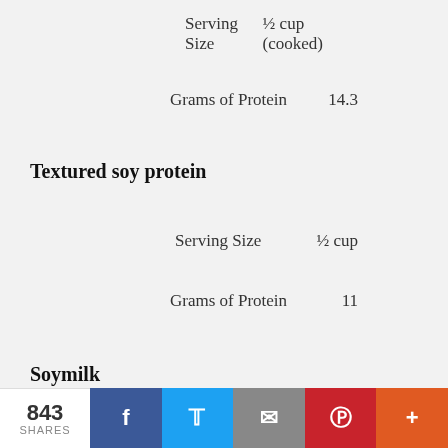Serving Size    ½ cup (cooked)
Grams of Protein    14.3
Textured soy protein
Serving Size    ½ cup
Grams of Protein    11
Soymilk
843 SHARES  f  🐦  ✉  P  +